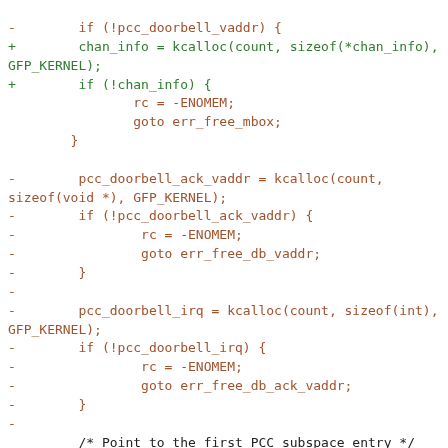[Figure (screenshot): A code diff showing removal of pcc_doorbell_vaddr, pcc_doorbell_ack_vaddr, and pcc_doorbell_irq kcalloc allocations (red lines) and addition of chan_info kcalloc allocation (green lines), followed by context lines for pcct_entry assignment and a hunk header.]